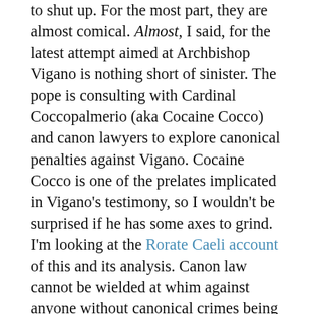to shut up. For the most part, they are almost comical. Almost, I said, for the latest attempt aimed at Archbishop Vigano is nothing short of sinister. The pope is consulting with Cardinal Coccopalmerio (aka Cocaine Cocco) and canon lawyers to explore canonical penalties against Vigano. Cocaine Cocco is one of the prelates implicated in Vigano's testimony, so I wouldn't be surprised if he has some axes to grind. I'm looking at the Rorate Caeli account of this and its analysis. Canon law cannot be wielded at whim against anyone without canonical crimes being committed, and these would entail the commission of sin. Of what sin could they accuse Vigano? The fact that the pope et al are even trying is telling both of their fear of discovery and their